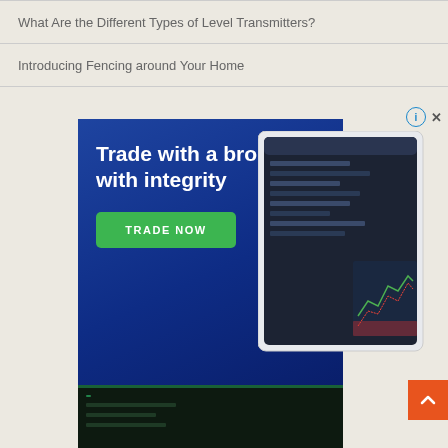What Are the Different Types of Level Transmitters?
Introducing Fencing around Your Home
[Figure (screenshot): Advertisement for a trading broker featuring dark blue background with white bold text 'Trade with a broker with integrity', a green 'TRADE NOW' button, and a trading platform screenshot showing charts and order book on the right side. An orange scroll-to-top button is visible in the lower right corner.]